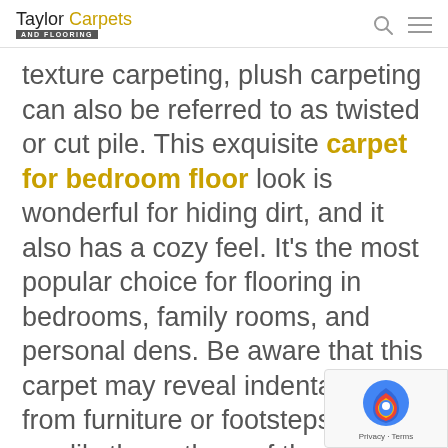Taylor Carpets AND FLOORING
texture carpeting, plush carpeting can also be referred to as twisted or cut pile. This exquisite carpet for bedroom floor look is wonderful for hiding dirt, and it also has a cozy feel. It’s the most popular choice for flooring in bedrooms, family rooms, and personal dens. Be aware that this carpet may reveal indentations from furniture or footsteps more readily than others of the same style and color.